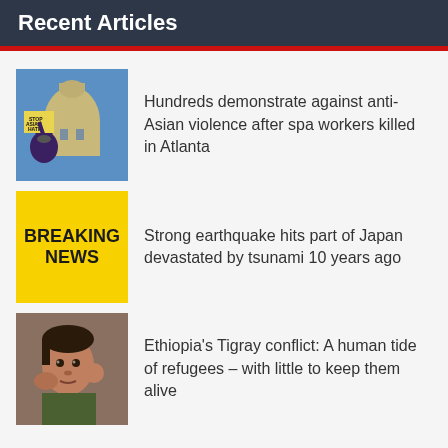Recent Articles
Hundreds demonstrate against anti-Asian violence after spa workers killed in Atlanta
Strong earthquake hits part of Japan devastated by tsunami 10 years ago
Ethiopia's Tigray conflict: A human tide of refugees – with little to keep them alive